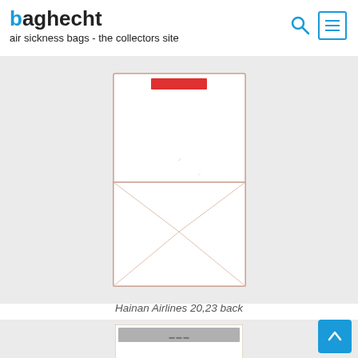baghecht — air sickness bags - the collectors site
[Figure (photo): Back view of a Hainan Airlines air sickness bag — a white bag with a small red label/strip at top, and the lower half showing a folded envelope-style bottom with diagonal fold lines. Displayed against a light grey background.]
Hainan Airlines 20,23 back
[Figure (photo): Partial view of a second air sickness bag, cropped at the bottom of the page, showing a light-colored bag with some text/graphics, displayed on a light grey background.]